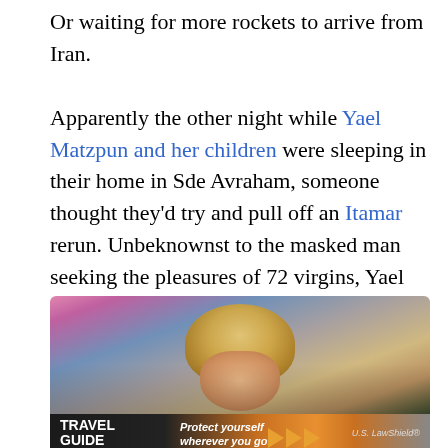Or waiting for more rockets to arrive from Iran.

Apparently the other night while Yael Matzpun and her children were sleeping in their home in Sde Avraham, someone thought they'd try and pull off an Itamar rerun. Unbeknownst to the masked man seeking the pleasures of 72 virgins, Yael knows how to handle herself . . .

From israelnationalnews.com:
[Figure (photo): Photograph of a person with blonde hair at what appears to be a rally or event, with people in the background; overlaid with a travel guide advertisement banner reading 'Travel Guide for Gun Owners' and 'Protect yourself wherever you go.' with U.S. LawShield branding]